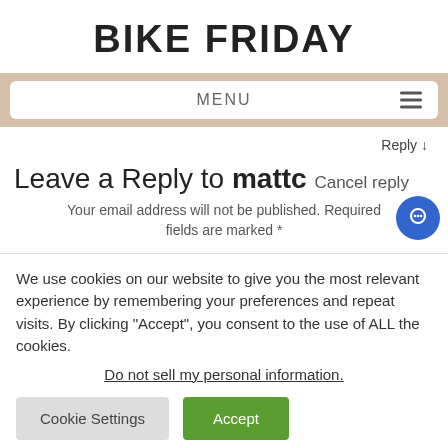BIKE FRIDAY
MENU ≡
Reply ↓
Leave a Reply to mattc  Cancel reply
Your email address will not be published. Required fields are marked *
We use cookies on our website to give you the most relevant experience by remembering your preferences and repeat visits. By clicking "Accept", you consent to the use of ALL the cookies.
Do not sell my personal information.
Cookie Settings   Accept